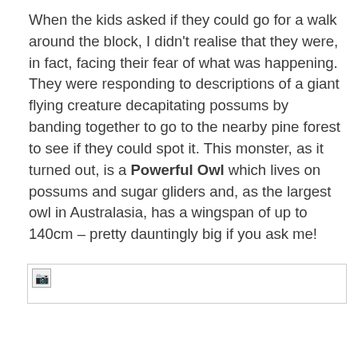When the kids asked if they could go for a walk around the block, I didn't realise that they were, in fact, facing their fear of what was happening. They were responding to descriptions of a giant flying creature decapitating possums by banding together to go to the nearby pine forest to see if they could spot it. This monster, as it turned out, is a Powerful Owl which lives on possums and sugar gliders and, as the largest owl in Australasia, has a wingspan of up to 140cm – pretty dauntingly big if you ask me!
[Figure (photo): Broken image placeholder (image failed to load)]